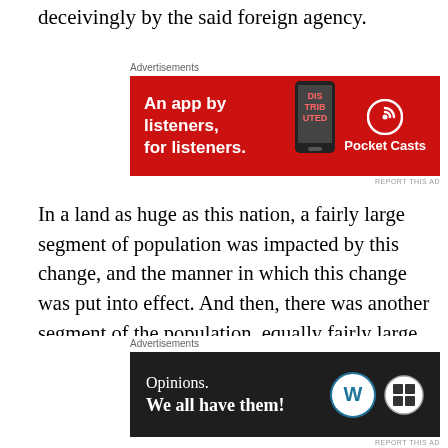deceivingly by the said foreign agency.
[Figure (screenshot): Red advertisement banner for Pocket Casts: 'An app by listeners, for listeners.' with phone graphic and Pocket Casts logo]
In a land as huge as this nation, a fairly large segment of population was impacted by this change, and the manner in which this change was put into effect. And then, there was another segment of the population, equally fairly large, or maybe even larger, for whom, nothing really changed as a matter of day to day living. The course of events made some transformation in the matters of political control and governance. Outside of that, it was life
[Figure (screenshot): Dark advertisement banner for WordPress: 'Opinions. We all have them!' with WordPress and other logos]